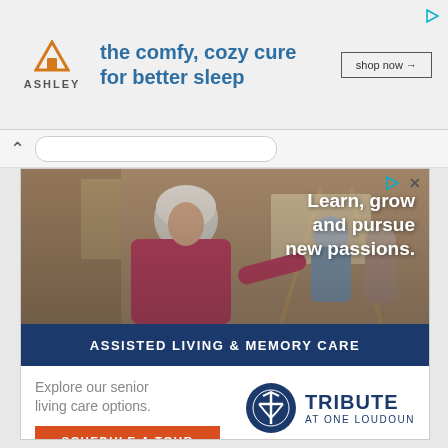[Figure (photo): Ashley Furniture advertisement banner with logo, tagline 'the comfy, cozy cure for better sleep', and 'shop now' button]
[Figure (photo): Senior living advertisement with photo of elderly woman painting at an easel with others in background, overlay text 'Learn, grow and pursue new passions.', blue bar 'ASSISTED LIVING & MEMORY CARE', text 'Explore our senior living care options.', Schedule a Tour button, and Tribute at One Loudoun logo]